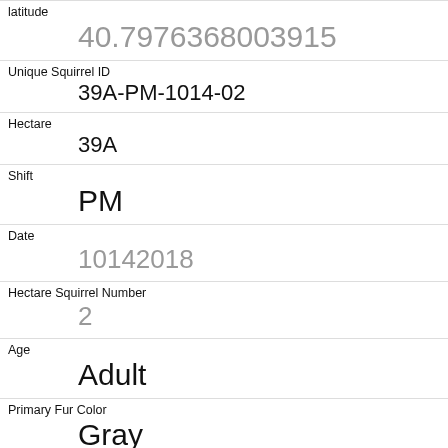| Field | Value |
| --- | --- |
| latitude | 40.7976368003915 |
| Unique Squirrel ID | 39A-PM-1014-02 |
| Hectare | 39A |
| Shift | PM |
| Date | 10142018 |
| Hectare Squirrel Number | 2 |
| Age | Adult |
| Primary Fur Color | Gray |
| Highlight Fur Color | White |
| Combination of Primary and Highlight Color | Gray+White |
| Color notes |  |